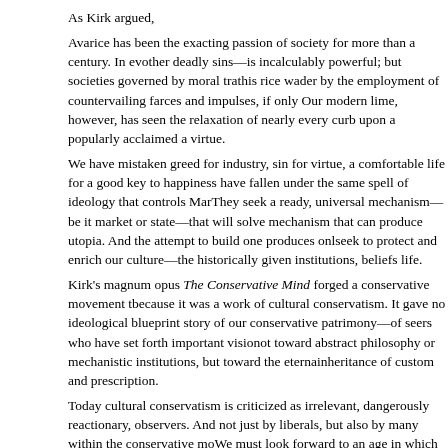As Kirk argued,
Avarice has been the exacting passion of society for more than a century. In ev- other deadly sins—is incalculably powerful; but societies governed by moral tra- this rice wader by the employment of countervailing farces and impulses, if only Our modern lime, however, has seen the relaxation of nearly every curb upon a popularly acclaimed a virtue.
We have mistaken greed for industry, sin for virtue, a comfortable life for a good key to happiness have fallen under the same spell of ideology that controls Mar- They seek a ready, universal mechanism—be it market or state—that will solve mechanism that can produce utopia. And the attempt to build one produces onl- seek to protect and enrich our culture—the historically given institutions, beliefs life.
Kirk's magnum opus The Conservative Mind forged a conservative movement t- because it was a work of cultural conservatism. It gave no ideological blueprint story of our conservative patrimony—of seers who have set forth important visio- not toward abstract philosophy or mechanistic institutions, but toward the eterna- inheritance of custom and prescription.
Today cultural conservatism is criticized as irrelevant, dangerously reactionary, observers. And not just by liberals, but also by many within the conservative mo- We must look forward to an age in which we will construct, for ourselves, a free social peace with rules and contracts of mutual benefit, secure in the knowledge